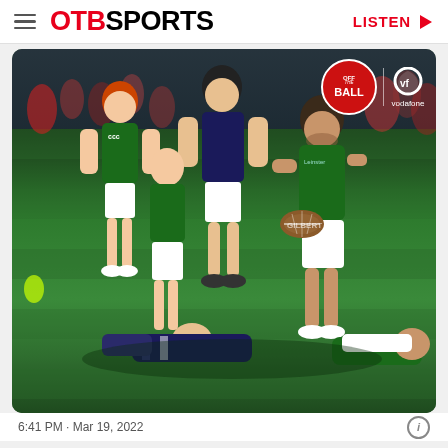OTB SPORTS  LISTEN
[Figure (photo): Rugby match photo showing Ireland players in green jerseys carrying the ball against Scotland players in dark blue. An Irish player with the ball is breaking free while teammates support and opposition players are on the ground. The Off The Ball and Vodafone logos appear in the top right corner of the image.]
6:41 PM · Mar 19, 2022